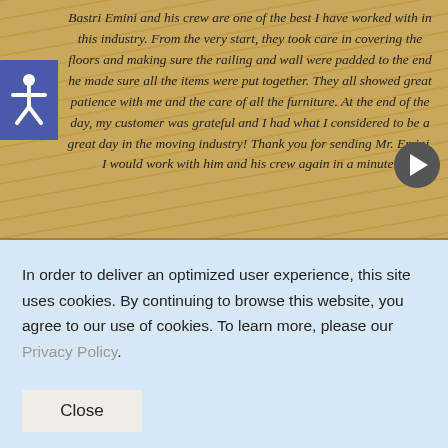Bastri Emini and his crew are one of the best I have worked with in this industry. From the very start, they took care in covering the floors and making sure the railing and wall were padded to the end he made sure all the items were put together. They all showed great patience with me and the care of all the furniture. At the end of the day, my customer was grateful and I had what I considered to be a great day in the moving industry! Thank you for sending Mr. Emini, I would work with him and his crew again in a minute!
In order to deliver an optimized user experience, this site uses cookies. By continuing to browse this website, you agree to our use of cookies. To learn more, please our Privacy Policy.
Close